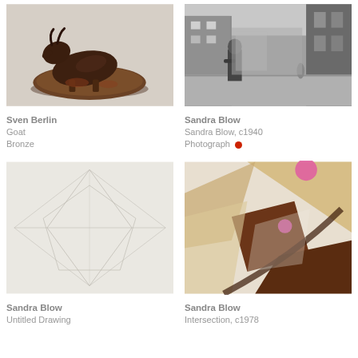[Figure (photo): Bronze sculpture of a goat lying down on a rough base]
Sven Berlin
Goat
Bronze
[Figure (photo): Black and white photograph of a street scene with a person leaning against a wall, labelled Sandra Blow c1940]
Sandra Blow
Sandra Blow, c1940
Photograph
[Figure (photo): Pencil drawing with geometric lines on white paper, Untitled Drawing by Sandra Blow]
Sandra Blow
Untitled Drawing
[Figure (photo): Abstract painting with geometric shapes in brown, beige, and pink tones, Intersection c1978 by Sandra Blow]
Sandra Blow
Intersection, c1978